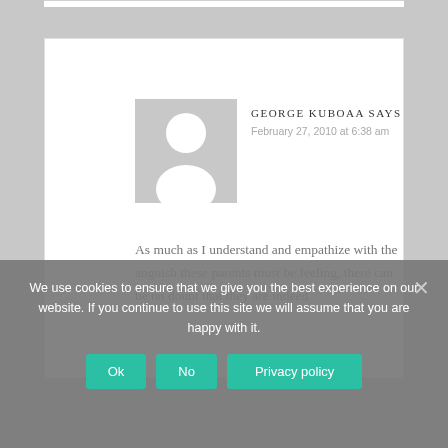[Figure (illustration): Grey avatar placeholder image showing a silhouette of a person (head and shoulders) on a light grey background]
GEORGE KUBOAA SAYS
February 27, 2010 at 6:38 am
As much as I understand and empathize with the anguish these parents must be feeling, there can be no doubt that they are indeed
We use cookies to ensure that we give you the best experience on our website. If you continue to use this site we will assume that you are happy with it.